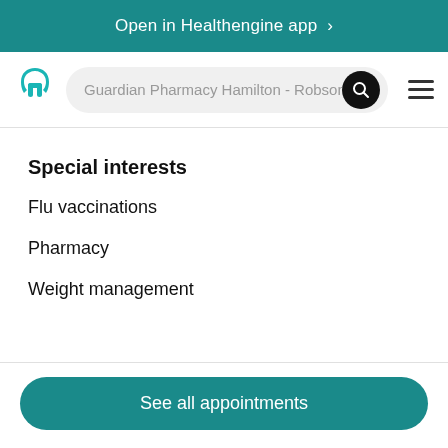Open in Healthengine app >
Guardian Pharmacy Hamilton - Robson
Special interests
Flu vaccinations
Pharmacy
Weight management
See all appointments